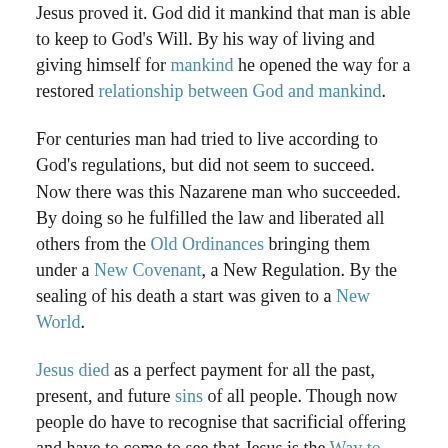Jesus proved it. God did it mankind that man is able to keep to God's Will. By his way of living and giving himself for mankind he opened the way for a restored relationship between God and mankind.
For centuries man had tried to live according to God's regulations, but did not seem to succeed. Now there was this Nazarene man who succeeded. By doing so he fulfilled the law and liberated all others from the Old Ordinances bringing them under a New Covenant, a New Regulation. By the sealing of his death a start was given to a New World.
Jesus died as a perfect payment for all the past, present, and future sins of all people. Though now people do have to recognise that sacrificial offering and have to come to see that Jesus is the Way to God now.